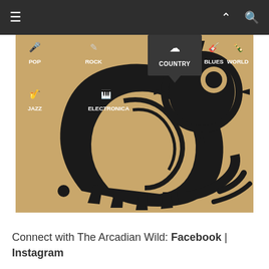[Figure (screenshot): Mobile app screenshot showing a music streaming interface with genre navigation (POP, ROCK, COUNTRY selected, BLUES, WORLD, CLASSICAL, JAZZ, ELECTRONICA) overlaid on a tan/brown background image of a black stylized creature/mascot graphic. Navigation bar at top with hamburger menu, chevron up, and search icons.]
Connect with The Arcadian Wild: Facebook | Instagram